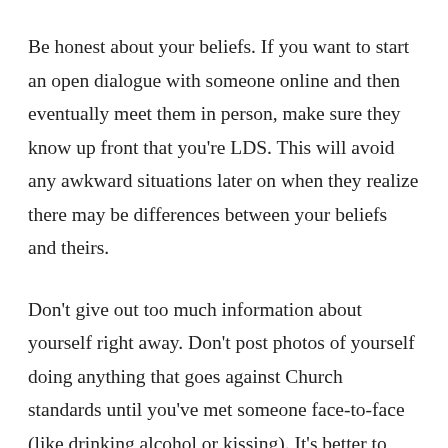Be honest about your beliefs. If you want to start an open dialogue with someone online and then eventually meet them in person, make sure they know up front that you're LDS. This will avoid any awkward situations later on when they realize there may be differences between your beliefs and theirs.
Don't give out too much information about yourself right away. Don't post photos of yourself doing anything that goes against Church standards until you've met someone face-to-face (like drinking alcohol or kissing). It's better to wait until you know each other better before sharing those types of photos or videos online so that you don't give